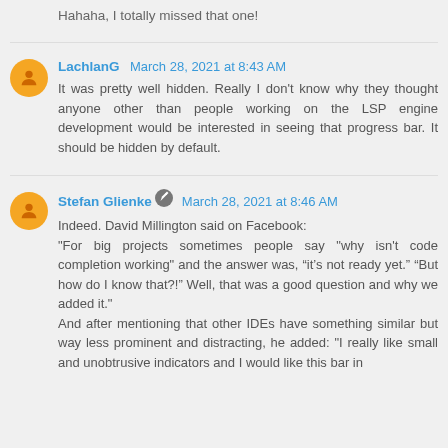Hahaha, I totally missed that one!
LachlanG  March 28, 2021 at 8:43 AM
It was pretty well hidden. Really I don't know why they thought anyone other than people working on the LSP engine development would be interested in seeing that progress bar. It should be hidden by default.
Stefan Glienke  March 28, 2021 at 8:46 AM
Indeed. David Millington said on Facebook:
"For big projects sometimes people say "why isn't code completion working" and the answer was, “it's not ready yet.” “But how do I know that?!” Well, that was a good question and why we added it."
And after mentioning that other IDEs have something similar but way less prominent and distracting, he added: "I really like small and unobtrusive indicators and I would like this bar in